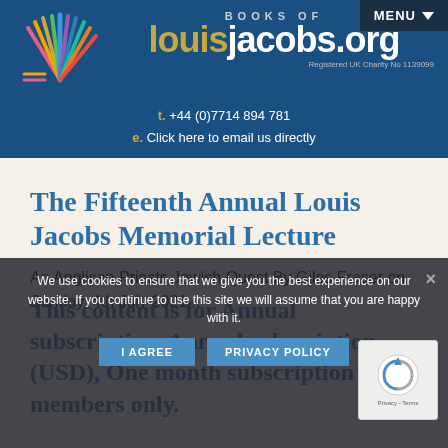[Figure (logo): Books of louisjacobs.org website header banner with colorful sunburst logo, 'BOOKS OF louisjacobs.org' text, registered charity number, phone and email contact details]
The Fifteenth Annual Louis Jacobs Memorial Lecture
An Anglican Priests Jewish Quest By Giles Fraser on Sunday, 4th July 2021...
We use cookies to ensure that we give you the best experience on our website. If you continue to use this site we will assume that you are happy with it.
This content is for Annual subscription, Annual subscription (USD), One month subscription members only.